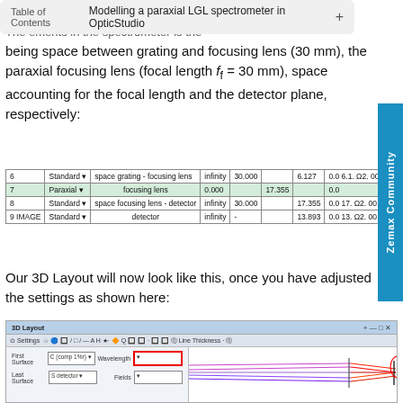Table of Contents | Modelling a paraxial LGL spectrometer in OpticStudio
The elements in the spectrometer is the being space between grating and focusing lens (30 mm), the paraxial focusing lens (focal length f_f = 30 mm), space accounting for the focal length and the detector plane, respectively:
|  |  |  |  |  |  |  |  |  |  |
| --- | --- | --- | --- | --- | --- | --- | --- | --- | --- |
| 6 | Standard ▾ | space grating - focusing lens | infinity | 30.000 |  | 6.127 | 0.0  6.1.  Ω2.  00. |  |  |
| 7 | Paraxial ▾ | focusing lens | 0.000 |  | 17.355 |  | 0.0 | 30.000 |
| 8 | Standard ▾ | space focusing lens - detector | infinity | 30.000 |  | 17.355 | 0.0  17.  Ω2.  00. |  |  |
| 9 IMAGE | Standard ▾ | detector | infinity | - |  | 13.893 | 0.0  13.  Ω2.  00. |  |  |
Our 3D Layout will now look like this, once you have adjusted the settings as shown here:
[Figure (screenshot): 3D Layout window in OpticStudio showing settings panel on left with First Surface: (Comp 1), Last Surface: S detector, Wavelength: #1, Fields: #1, and a ray trace diagram on the right showing colored rays converging at the detector.]